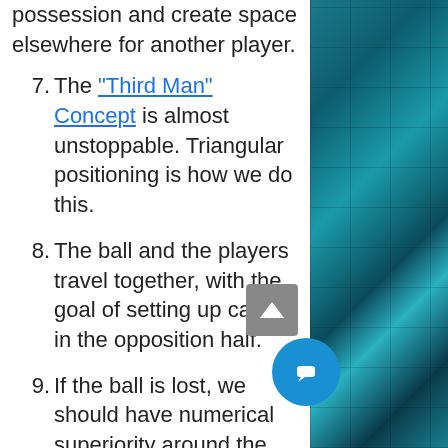possession and create space elsewhere for another player.
7. The "Third Man" Concept is almost unstoppable. Triangular positioning is how we do this.
8. The ball and the players travel together, with the goal of setting up camp in the opposition half.
9. If the ball is lost, we should have numerical superiority around the ball to help us win it back. We must press quickly.
10. A quick counterattack is a way of exploiting numerical superiority and positional advantage. If we can win back